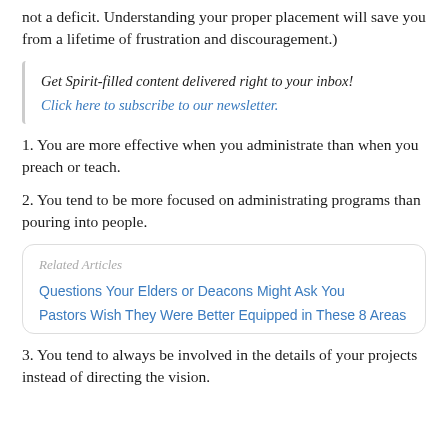not a deficit. Understanding your proper placement will save you from a lifetime of frustration and discouragement.)
Get Spirit-filled content delivered right to your inbox! Click here to subscribe to our newsletter.
1. You are more effective when you administrate than when you preach or teach.
2. You tend to be more focused on administrating programs than pouring into people.
Related Articles
Questions Your Elders or Deacons Might Ask You
Pastors Wish They Were Better Equipped in These 8 Areas
3. You tend to always be involved in the details of your projects instead of directing the vision.